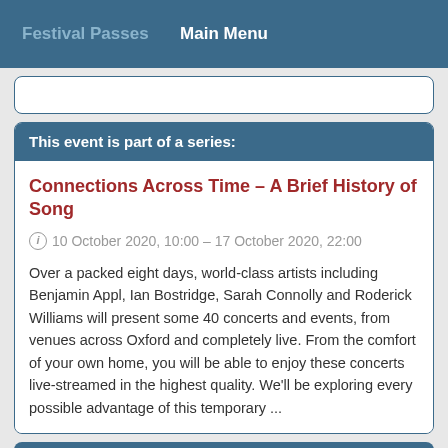Festival Passes   Main Menu
This event is part of a series:
Connections Across Time - A Brief History of Song
10 October 2020, 10:00 - 17 October 2020, 22:00
Over a packed eight days, world-class artists including Benjamin Appl, Ian Bostridge, Sarah Connolly and Roderick Williams will present some 40 concerts and events, from venues across Oxford and completely live. From the comfort of your own home, you will be able to enjoy these concerts live-streamed in the highest quality. We'll be exploring every possible advantage of this temporary ...